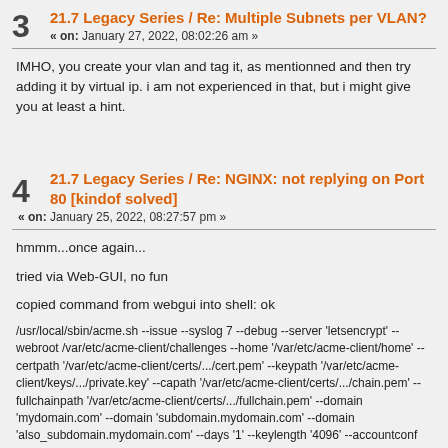3 21.7 Legacy Series / Re: Multiple Subnets per VLAN? « on: January 27, 2022, 08:02:26 am »
IMHO, you create your vlan and tag it, as mentionned and then try adding it by virtual ip. i am not experienced in that, but i might give you at least a hint.
4 21.7 Legacy Series / Re: NGINX: not replying on Port 80 [kindof solved] « on: January 25, 2022, 08:27:57 pm »
hmmm...once again...

tried via Web-GUI, no fun

copied command from webgui into shell: ok

/usr/local/sbin/acme.sh --issue --syslog 7 --debug --server 'letsencrypt' --webroot /var/etc/acme-client/challenges --home '/var/etc/acme-client/home' --certpath '/var/etc/acme-client/certs/.../cert.pem' --keypath '/var/etc/acme-client/keys/.../private.key' --capath '/var/etc/acme-client/certs/.../chain.pem' --fullchainpath '/var/etc/acme-client/certs/.../fullchain.pem' --domain 'mydomain.com' --domain 'subdomain.mydomain.com' --domain 'also_subdomain.mydomain.com' --days '1' --keylength '4096' --accountconf '/var/etc/acme-